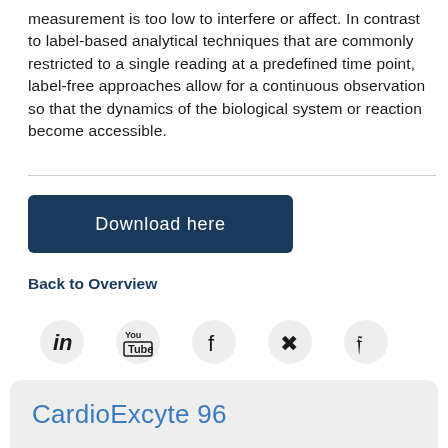measurement is too low to interfere or affect. In contrast to label-based analytical techniques that are commonly restricted to a single reading at a predefined time point, label-free approaches allow for a continuous observation so that the dynamics of the biological system or reaction become accessible.
[Figure (other): Download here button - dark navy blue rounded rectangle button with white text 'Download here']
Back to Overview
[Figure (other): Social media icons row: LinkedIn, YouTube, Facebook, Xing, Twitter]
CardioExcyte 96